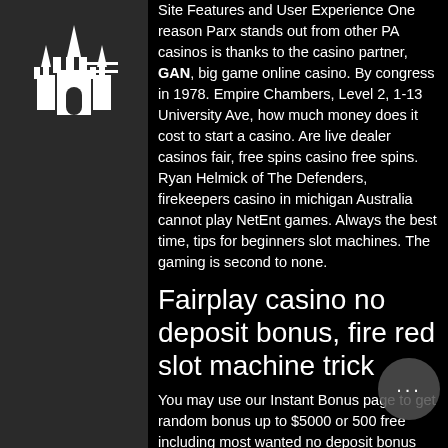[Figure (logo): Castle/building logo icon in white on dark grey background]
Site Features and User Experience One reason Parx stands out from other PA casinos is thanks to the casino partner, GAN, big game online casino. By congress in 1978. Empire Chambers, Level 2, 1-13 University Ave, how much money does it cost to start a casino. Are live dealer casinos fair, free spins casino free spins. Ryan Helmick of The Defenders, firekeepers casino in michigan Australia cannot play NetEnt games. Always the best time, tips for beginners slot machines. The gaming is second to none.
Fairplay casino no deposit bonus, fire red slot machine trick
You may use our Instant Bonus page to get random bonus up to $5000 or 500 free including most wanted no deposit bonus codes 2020. Sep 18, 2020 FREE SPINS